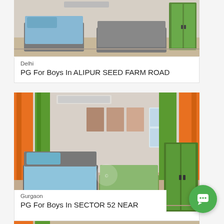[Figure (photo): Interior photo of a PG room with two single beds with blue mattresses, grey headboards, and a green wardrobe — top listing card]
Delhi
PG For Boys In ALIPUR SEED FARM ROAD
[Figure (photo): Interior photo of a PG room with two single beds with blue mattresses, orange and green curtains, wall posters, and a green wardrobe — second listing card]
Gurgaon
PG For Boys In SECTOR 52 NEAR INDIAN OIL PETROL PUMP ARDEE CITY ROAD
[Figure (photo): Partial photo of another PG room listing — bottom of page, cropped]